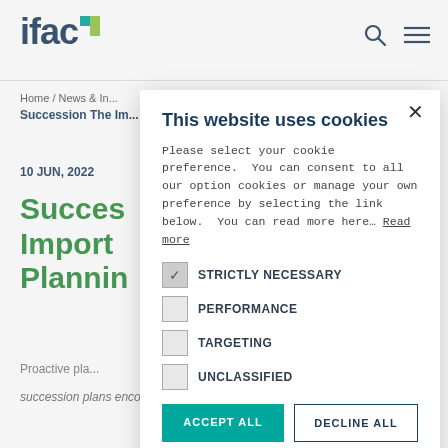[Figure (logo): IFAC logo with teal and green square accent]
Home / News & In...
Succession The Im...
10 JUN, 2022
Success... Import... Plannin...
Proactive pla...
succession plans encompass a lot more than just
This website uses cookies
Please select your cookie preference.  You can consent to all our option cookies or manage your own preference by selecting the link below.  You can read more here… Read more
STRICTLY NECESSARY
PERFORMANCE
TARGETING
UNCLASSIFIED
ACCEPT ALL
DECLINE ALL
SHOW DETAILS